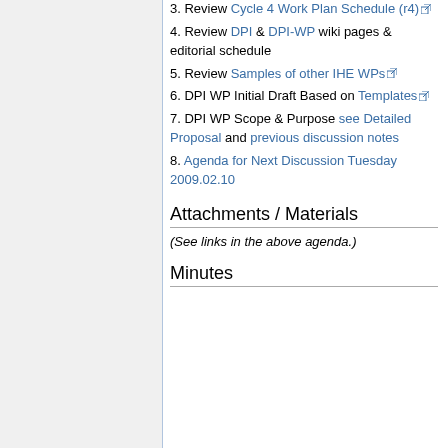3. Review Cycle 4 Work Plan Schedule (r4)
4. Review DPI & DPI-WP wiki pages & editorial schedule
5. Review Samples of other IHE WPs
6. DPI WP Initial Draft Based on Templates
7. DPI WP Scope & Purpose see Detailed Proposal and previous discussion notes
8. Agenda for Next Discussion Tuesday 2009.02.10
Attachments / Materials
(See links in the above agenda.)
Minutes